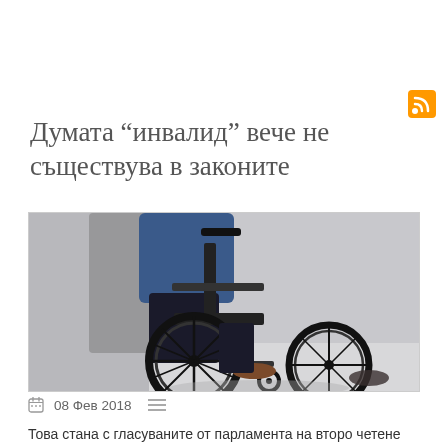[Figure (other): RSS feed orange icon button in top right area]
Думата "инвалид" вече не съществува в законите
[Figure (photo): A person in a wheelchair being pushed, close-up of the wheelchair wheels and lower body]
08 Фев 2018
Това стана с гласуваните от парламента на второ четене